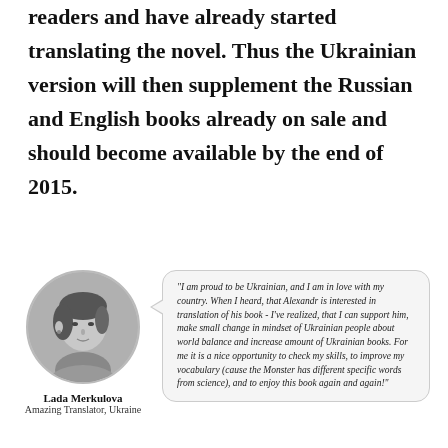readers and have already started translating the novel. Thus the Ukrainian version will then supplement the Russian and English books already on sale and should become available by the end of 2015.
[Figure (photo): Black and white circular portrait photo of Lada Merkulova, a young woman facing slightly to the side.]
Lada Merkulova
Amazing Translator, Ukraine
"I am proud to be Ukrainian, and I am in love with my country. When I heard, that Alexandr is interested in translation of his book - I've realized, that I can support him, make small change in mindset of Ukrainian people about world balance and increase amount of Ukrainian books. For me it is a nice opportunity to check my skills, to improve my vocabulary (cause the Monster has different specific words from science), and to enjoy this book again and again!"